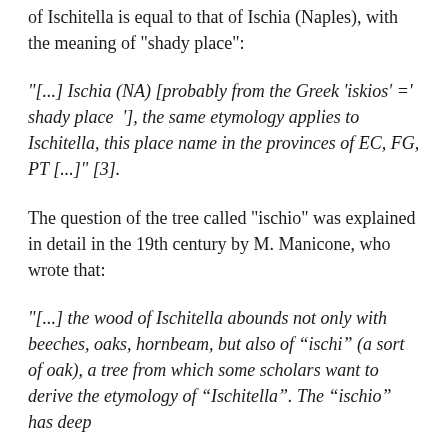of Ischitella is equal to that of Ischia (Naples), with the meaning of "shady place":
"[...] Ischia (NA) [probably from the Greek 'iskios' =' shady place  '], the same etymology applies to Ischitella, this place name in the provinces of EC, FG, PT [...]" [3].
The question of the tree called "ischio" was explained in detail in the 19th century by M. Manicone, who wrote that:
"[...] the wood of Ischitella abounds not only with beeches, oaks, hornbeam, but also of “ischi” (a sort of oak), a tree from which some scholars want to derive the etymology of “Ischitella”. The “ischio” has deep